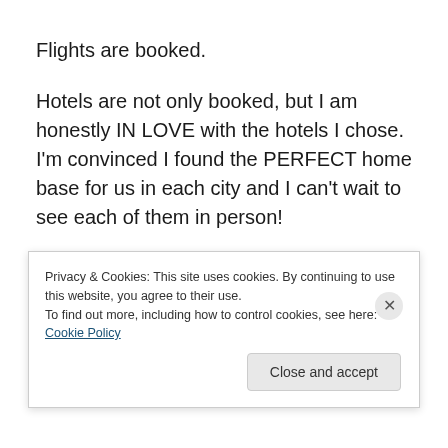Flights are booked.
Hotels are not only booked, but I am honestly IN LOVE with the hotels I chose.  I'm convinced I found the PERFECT home base for us in each city and I can't wait to see each of them in person!
Tours are researched and for the most part booked.  We'll be hiking through vineyards in Tuscany, taking a cooking
Privacy & Cookies: This site uses cookies. By continuing to use this website, you agree to their use.
To find out more, including how to control cookies, see here: Cookie Policy
Close and accept